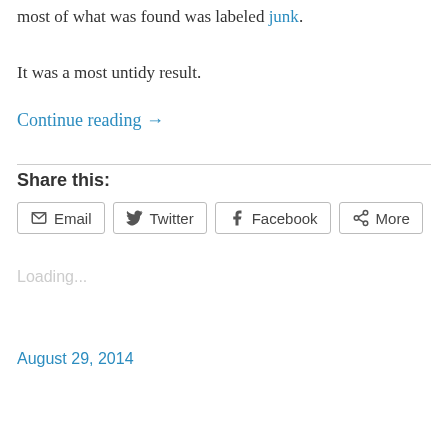most of what was found was labeled junk.
It was a most untidy result.
Continue reading →
Share this:
Email  Twitter  Facebook  More
Loading...
August 29, 2014